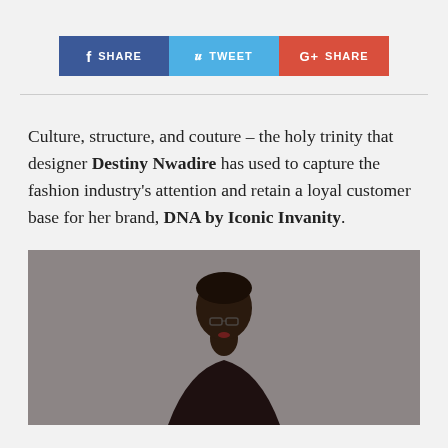[Figure (infographic): Social share bar with three buttons: Facebook SHARE (blue), Twitter TWEET (light blue), Google+ SHARE (red)]
Culture, structure, and couture – the holy trinity that designer Destiny Nwadire has used to capture the fashion industry's attention and retain a loyal customer base for her brand, DNA by Iconic Invanity.
[Figure (photo): A fashion model with short hair posing against a grey textured background, photographed from approximately mid-torso up.]